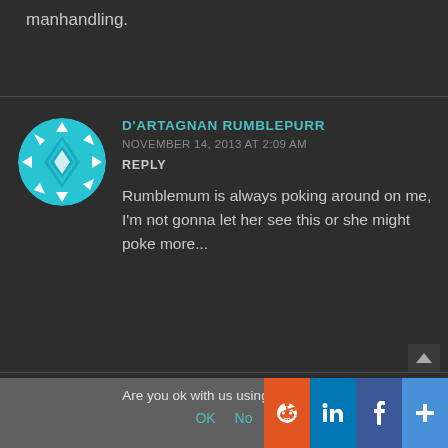manhandling.
D'ARTAGNAN RUMBLEPURR
NOVEMBER 14, 2013 AT 2:09 AM
REPLY

Rumblemum is always poking around on me, I'm not gonna let her see this or she might poke more...
Are you ok with us using cookies?
OK   No